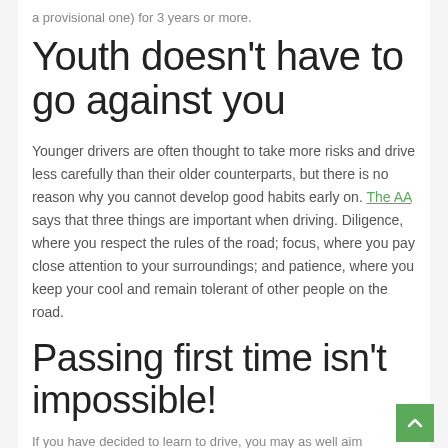a provisional one) for 3 years or more.
Youth doesn't have to go against you
Younger drivers are often thought to take more risks and drive less carefully than their older counterparts, but there is no reason why you cannot develop good habits early on. The AA says that three things are important when driving. Diligence, where you respect the rules of the road; focus, where you pay close attention to your surroundings; and patience, where you keep your cool and remain tolerant of other people on the road.
Passing first time isn't impossible!
If you have decided to learn to drive, you may as well aim...